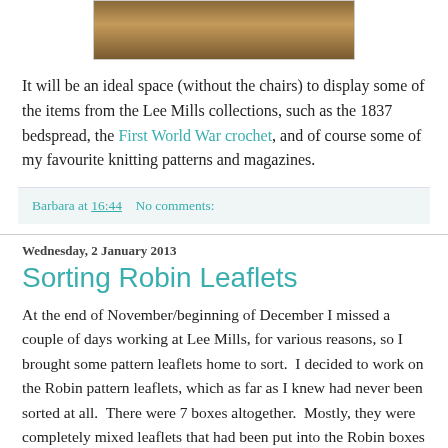[Figure (photo): A photo showing chairs on a wooden floor, partially visible at the top of the page]
It will be an ideal space (without the chairs) to display some of the items from the Lee Mills collections, such as the 1837 bedspread, the First World War crochet, and of course some of my favourite knitting patterns and magazines.
Barbara at 16:44   No comments:
Wednesday, 2 January 2013
Sorting Robin Leaflets
At the end of November/beginning of December I missed a couple of days working at Lee Mills, for various reasons, so I brought some pattern leaflets home to sort.  I decided to work on the Robin pattern leaflets, which as far as I knew had never been sorted at all.  There were 7 boxes altogether.  Mostly, they were completely mixed leaflets that had been put into the Robin boxes as we were